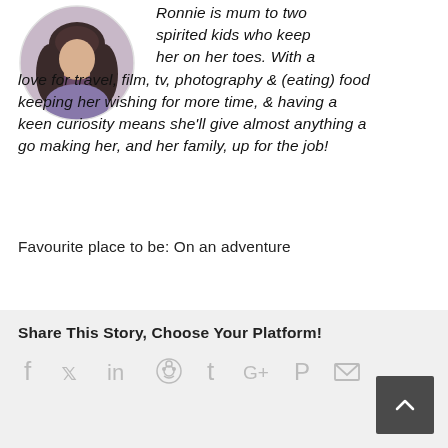[Figure (photo): Circular profile photo of a woman with long dark hair]
Ronnie is mum to two spirited kids who keep her on her toes. With a love for travel, film, tv, photography & (eating) food keeping her wishing for more time, & having a keen curiosity means she'll give almost anything a go making her, and her family, up for the job!
Favourite place to be: On an adventure
Share This Story, Choose Your Platform!
[Figure (infographic): Social media share icons: Facebook, Twitter, LinkedIn, Reddit, Tumblr, Google+, Pinterest, Email]